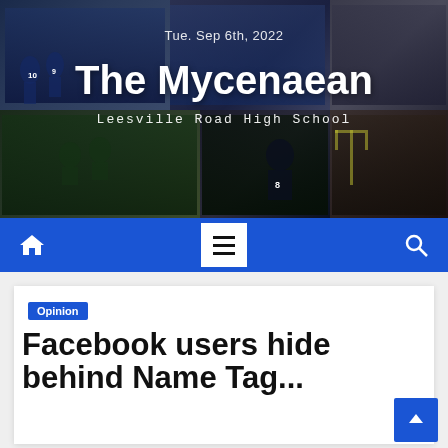[Figure (photo): Header collage with sports and school photos: volleyball team, crowd, student, cheerleaders, football player, classroom]
Tue. Sep 6th, 2022
The Mycenaean
Leesville Road High School
[Figure (other): Navigation bar with home icon, hamburger menu button, and search icon on blue background]
Opinion
Facebook users hide